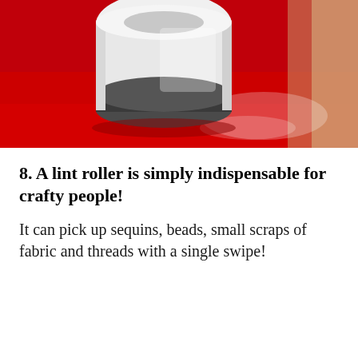[Figure (photo): A lint roller with a white translucent handle/housing sitting on a bright red surface, viewed from above at an angle. The roller head is dark/grey. There appears to be white powder or glitter visible on the red surface.]
8. A lint roller is simply indispensable for crafty people!
It can pick up sequins, beads, small scraps of fabric and threads with a single swipe!